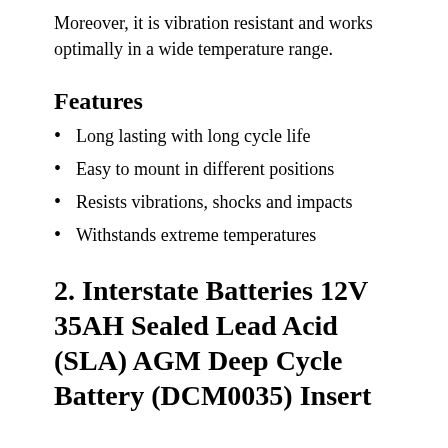Moreover, it is vibration resistant and works optimally in a wide temperature range.
Features
Long lasting with long cycle life
Easy to mount in different positions
Resists vibrations, shocks and impacts
Withstands extreme temperatures
2. Interstate Batteries 12V 35AH Sealed Lead Acid (SLA) AGM Deep Cycle Battery (DCM0035) Insert